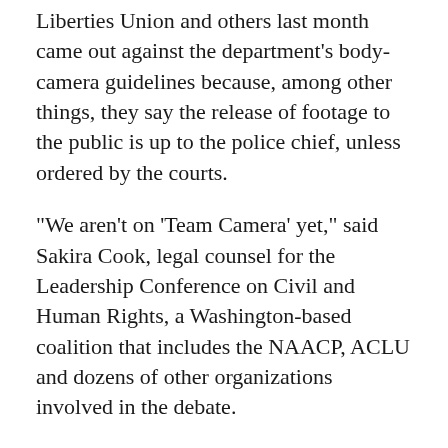Liberties Union and others last month came out against the department's body-camera guidelines because, among other things, they say the release of footage to the public is up to the police chief, unless ordered by the courts.
"We aren't on 'Team Camera' yet," said Sakira Cook, legal counsel for the Leadership Conference on Civil and Human Rights, a Washington-based coalition that includes the NAACP, ACLU and dozens of other organizations involved in the debate.
"The jury's still out on whether cameras are a useful tool in reducing excessive force in policing. We're also concerned cameras can be used as tools of surveillance and increase racial profiling."